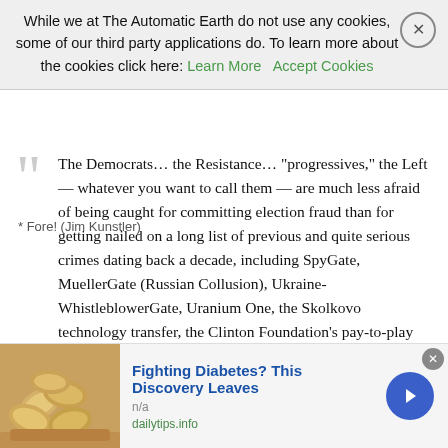While we at The Automatic Earth do not use any cookies, some of our third party applications do. To learn more about the cookies click here: Learn More  Accept Cookies
* Fore! (Jim Kunstler)
The Democrats… the Resistance… “progressives,” the Left — whatever you want to call them — are much less afraid of being caught for committing election fraud than for getting nailed on a long list of previous and quite serious crimes dating back a decade, including SpyGate, MuellerGate (Russian Collusion), Ukraine-WhistleblowerGate, Uranium One, the Skolkovo technology transfer, the Clinton Foundation’s pay-to-play doings, and the recently disclosed influence-peddling and money-laundering schemes of the Biden Family. A little election fraud ain’t nuthin to that massive, reeking landfill of perfidy and sedition, and folks apparently forget that the election happened just on the eve of whatever investigative results John Durham & Company may be ready to drop on the nation — including the afore-alluded-to Biden Family hijinks, of which there is a
[Figure (photo): Advertisement image showing cashews/nuts for diabetes discovery article]
Fighting Diabetes? This Discovery Leaves
n/a
dailytips.info